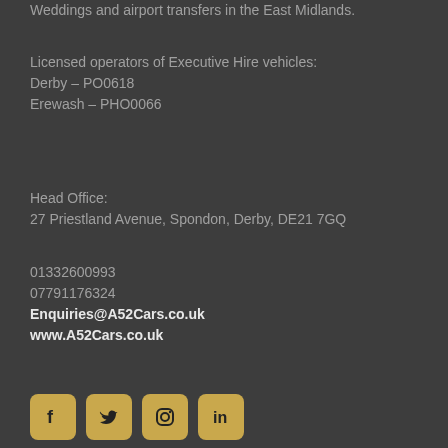Weddings and airport transfers in the East Midlands.
Licensed operators of Executive Hire vehicles:
Derby – PO0618
Erewash – PHO0066
Head Office:
27 Priestland Avenue, Spondon, Derby, DE21 7GQ
01332600993
07791176324
Enquiries@A52Cars.co.uk
www.A52Cars.co.uk
[Figure (other): Social media icons: Facebook, Twitter, Instagram, LinkedIn — gold rounded square buttons]